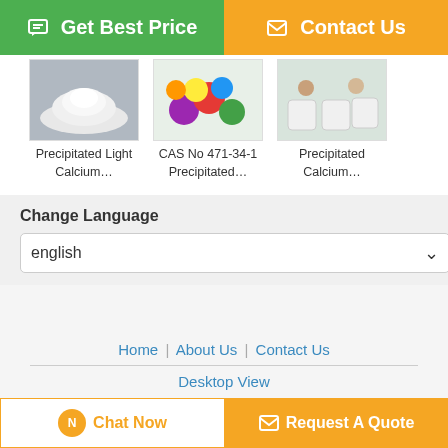[Figure (other): Two call-to-action buttons: green 'Get Best Price' and orange 'Contact Us']
[Figure (photo): Three product images in a row: white powder (Precipitated Light Calcium...), colorful balls (CAS No 471-34-1 Precipitated...), two men with white bags (Precipitated Calcium...)]
Precipitated Light Calcium…
CAS No 471-34-1 Precipitated…
Precipitated Calcium…
Change Language
english
Home | About Us | Contact Us
Desktop View
China calcium carbonate vitamin d3 Supplier. Copyright © 2015 - 2022 lj-group.com.
All rights reserved. Developed by ECER
[Figure (other): Two bottom buttons: white 'Chat Now' and orange 'Request A Quote']